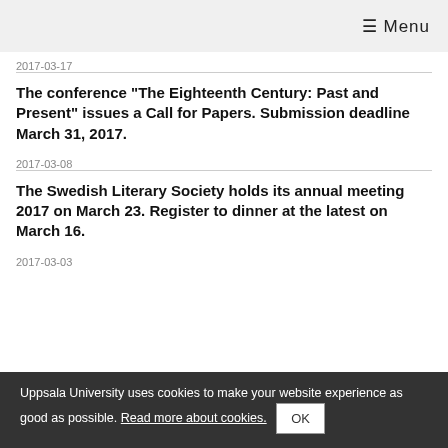≡ Menu
2017-03-17
The conference "The Eighteenth Century: Past and Present" issues a Call for Papers. Submission deadline March 31, 2017.
2017-03-08
The Swedish Literary Society holds its annual meeting 2017 on March 23. Register to dinner at the latest on March 16.
2017-03-03
Uppsala University uses cookies to make your website experience as good as possible. Read more about cookies. OK